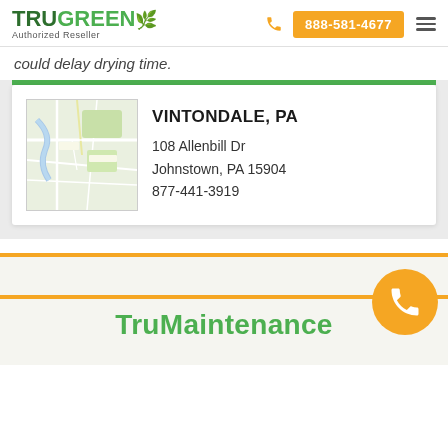TruGreen Authorized Reseller | 888-581-4677
could delay drying time.
VINTONDALE, PA
108 Allenbill Dr
Johnstown, PA 15904
877-441-3919
[Figure (map): Map thumbnail showing Vintondale/Johnstown PA area]
TruMaintenance